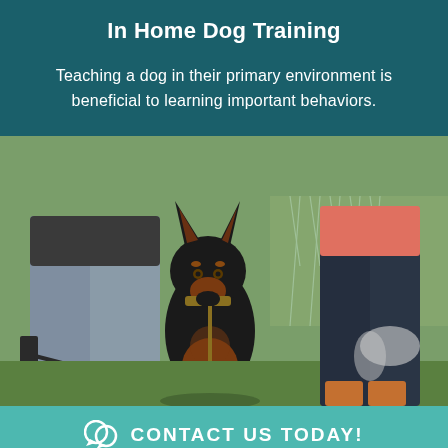In Home Dog Training
Teaching a dog in their primary environment is beneficial to learning important behaviors.
[Figure (photo): A Doberman dog sitting on grass between two people, one in jeans holding leashes and another in dark jeans with boots, with a chain-link fence in the background during outdoor dog training.]
CONTACT US TODAY!